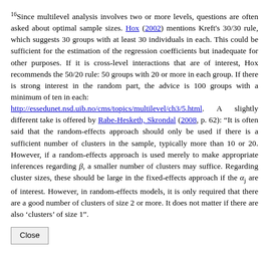16 Since multilevel analysis involves two or more levels, questions are often asked about optimal sample sizes. Hox (2002) mentions Kreft's 30/30 rule, which suggests 30 groups with at least 30 individuals in each. This could be sufficient for the estimation of the regression coefficients but inadequate for other purposes. If it is cross-level interactions that are of interest, Hox recommends the 50/20 rule: 50 groups with 20 or more in each group. If there is strong interest in the random part, the advice is 100 groups with a minimum of ten in each: http://essedunet.nsd.uib.no/cms/topics/multilevel/ch3/5.html. A slightly different take is offered by Rabe-Hesketh, Skrondal (2008, p. 62): "It is often said that the random-effects approach should only be used if there is a sufficient number of clusters in the sample, typically more than 10 or 20. However, if a random-effects approach is used merely to make appropriate inferences regarding β, a smaller number of clusters may suffice. Regarding cluster sizes, these should be large in the fixed-effects approach if the αj are of interest. However, in random-effects models, it is only required that there are a good number of clusters of size 2 or more. It does not matter if there are also 'clusters' of size 1".